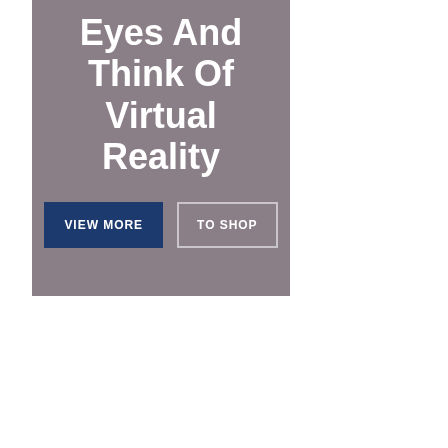[Figure (illustration): A dark mauve/grey banner with bold white text reading 'Eyes And Think Of Virtual Reality' and two buttons below: a dark navy 'VIEW MORE' button and an outlined 'TO SHOP' button.]